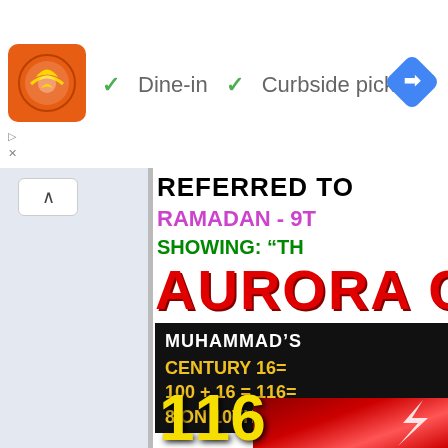[Figure (screenshot): Screenshot of a Google Maps / restaurant listing UI showing a restaurant icon (orange with a globe/burger logo), dine-in and curbside pickup options with green checkmarks, a blue navigation diamond icon, and an ad label. Below is a two-panel layout: left panel is light blue-gray with a collapse arrow button, right panel shows a promotional flyer partially cropped with text: REFERRED TO, RAMADAN - 9T[H], SHOWING: TH[...], AURORA C[...], MUHAMMAD'S [B], CENTURY 16= 100 + 16 = 116= 8 ON 10TH, 116 = 911, AURORA (bottom)]
Dine-in
Curbside pickup
REFERRED TO
RAMADAN - 9T
SHOWING: “TH
AURORA C
MUHAMMAD'S
CENTURY 16=
100 + 16 = 116=
8 ON 10TH
116
= 911
AURORA